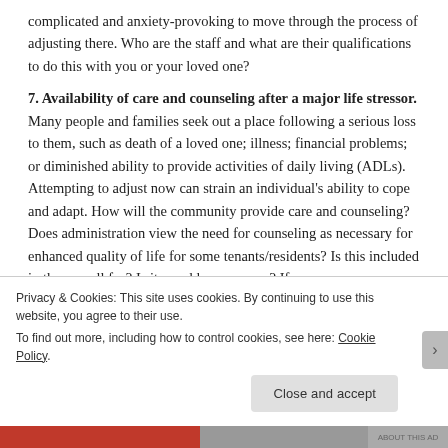complicated and anxiety-provoking to move through the process of adjusting there. Who are the staff and what are their qualifications to do this with you or your loved one?
7. Availability of care and counseling after a major life stressor. Many people and families seek out a place following a serious loss to them, such as death of a loved one; illness; financial problems; or diminished ability to provide activities of daily living (ADLs). Attempting to adjust now can strain an individual's ability to cope and adapt. How will the community provide care and counseling? Does administration view the need for counseling as necessary for enhanced quality of life for some tenants/residents? Is this included in the overall fee? Is it an add-on expense? If
Privacy & Cookies: This site uses cookies. By continuing to use this website, you agree to their use.
To find out more, including how to control cookies, see here: Cookie Policy
Close and accept